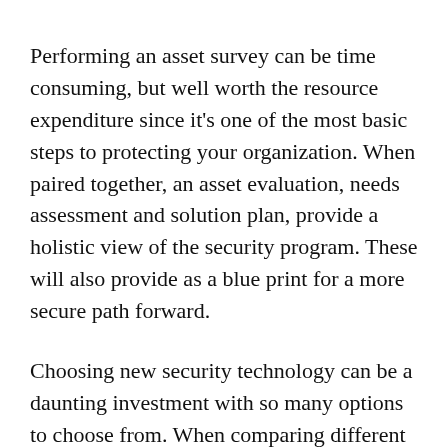Performing an asset survey can be time consuming, but well worth the resource expenditure since it’s one of the most basic steps to protecting your organization. When paired together, an asset evaluation, needs assessment and solution plan, provide a holistic view of the security program. These will also provide as a blue print for a more secure path forward.
Choosing new security technology can be a daunting investment with so many options to choose from. When comparing different solutions, remember that a one-size-fits-all